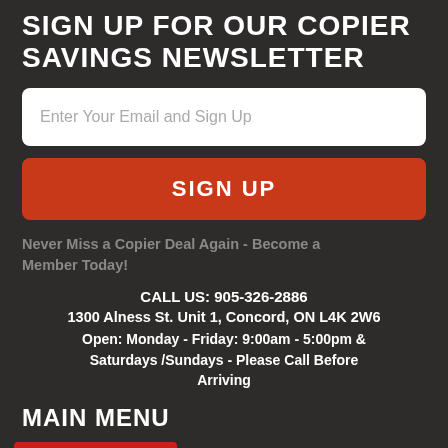SIGN UP FOR OUR COPIER SAVINGS NEWSLETTER
Enter Your Email and Sign Up
SIGN UP
Never Miss a Copier Deal Again - Become a Member Today!
CALL US: 905-326-2886
1300 Alness St. Unit 1, Concord, ON L4K 2W6
Open: Monday - Friday: 9:00am - 5:00pm & Saturdays /Sundays - Please Call Before Arriving
MAIN MENU
Contact Us